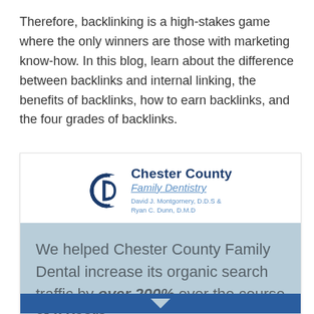Therefore, backlinking is a high-stakes game where the only winners are those with marketing know-how. In this blog, learn about the difference between backlinks and internal linking, the benefits of backlinks, how to earn backlinks, and the four grades of backlinks.
[Figure (logo): Chester County Family Dentistry logo with circular CD monogram icon, text 'Chester County' in bold dark blue, 'Family Dentistry' in italic blue underlined, and 'David J. Montgomery, D.D.S & Ryan C. Dunn, D.M.D' in small blue text below.]
We helped Chester County Family Dental increase its organic search traffic by over 200% over the course of 2 years.